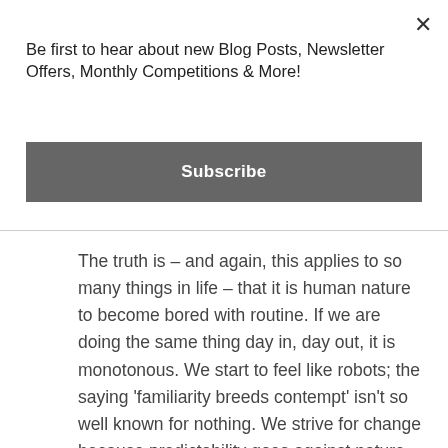Be first to hear about new Blog Posts, Newsletter Offers, Monthly Competitions & More!
Subscribe
The truth is – and again, this applies to so many things in life – that it is human nature to become bored with routine. If we are doing the same thing day in, day out, it is monotonous. We start to feel like robots; the saying 'familiarity breeds contempt' isn't so well known for nothing. We strive for change because predictability goes against nature. It is dull. A massage - if done by a well trained and attentive therapist - usually feels pleasant. But if massage is your weekly treat, or something absolutely necessary for